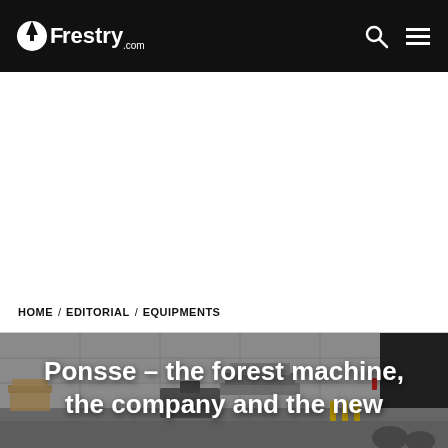Forestry.com
HOME / EDITORIAL / EQUIPMENTS
[Figure (photo): Outdoor industrial/forestry equipment yard with large machinery, stacked materials, and a building facade in the background. Dark/hazy atmosphere.]
Ponsse – the forest machine, the company and the new